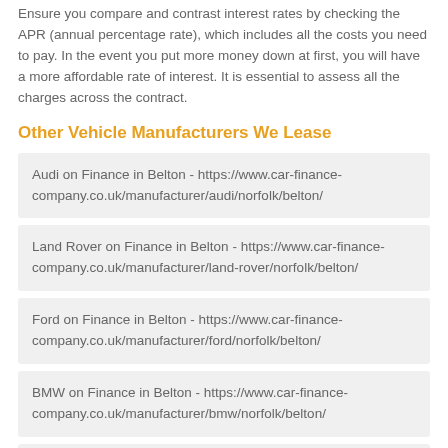Ensure you compare and contrast interest rates by checking the APR (annual percentage rate), which includes all the costs you need to pay. In the event you put more money down at first, you will have a more affordable rate of interest. It is essential to assess all the charges across the contract.
Other Vehicle Manufacturers We Lease
Audi on Finance in Belton - https://www.car-finance-company.co.uk/manufacturer/audi/norfolk/belton/
Land Rover on Finance in Belton - https://www.car-finance-company.co.uk/manufacturer/land-rover/norfolk/belton/
Ford on Finance in Belton - https://www.car-finance-company.co.uk/manufacturer/ford/norfolk/belton/
BMW on Finance in Belton - https://www.car-finance-company.co.uk/manufacturer/bmw/norfolk/belton/